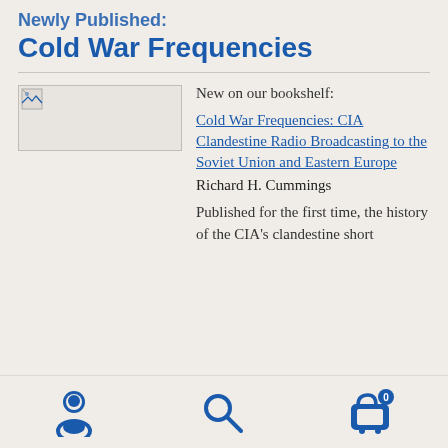Cold War Frequencies
New on our bookshelf:
[Figure (illustration): Broken/missing book cover image placeholder]
Cold War Frequencies: CIA Clandestine Radio Broadcasting to the Soviet Union and Eastern Europe
Richard H. Cummings
Published for the first time, the history of the CIA's clandestine short...
Navigation bar with user icon, search icon, and cart icon (0 items)